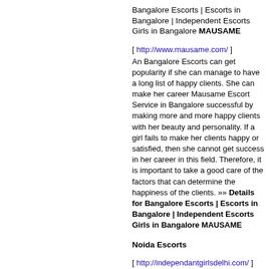Bangalore Escorts | Escorts in Bangalore | Independent Escorts Girls in Bangalore MAUSAME
[ http://www.mausame.com/ ] An Bangalore Escorts can get popularity if she can manage to have a long list of happy clients. She can make her career Mausame Escort Service in Bangalore successful by making more and more happy clients with her beauty and personality. If a girl fails to make her clients happy or satisfied, then she cannot get success in her career in this field. Therefore, it is important to take a good care of the factors that can determine the happiness of the clients. »» Details for Bangalore Escorts | Escorts in Bangalore | Independent Escorts Girls in Bangalore MAUSAME
Noida Escorts
[ http://independantgirlsdelhi.com/ ] We welcome you all to our website as well as to Noida Escorts . The escorts services are now booming in India after the successful implementation from western countries.Noida Escorts will help you in successful intercourse with the most beautiful girl in Noida . Noida Escorts Provide call girl in